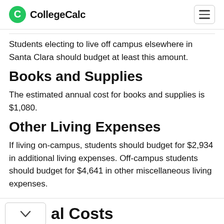CollegeCalc
Students electing to live off campus elsewhere in Santa Clara should budget at least this amount.
Books and Supplies
The estimated annual cost for books and supplies is $1,080.
Other Living Expenses
If living on-campus, students should budget for $2,934 in additional living expenses. Off-campus students should budget for $4,641 in other miscellaneous living expenses.
al Costs